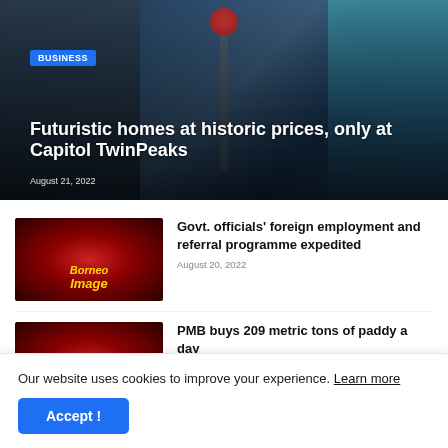[Figure (photo): Hero image showing city skyline with tall buildings, a tower with a red ball, and the Capitol TwinPeaks sign, overlaid with article details]
BUSINESS
Futuristic homes at historic prices, only at Capitol TwinPeaks
August 21, 2022
[Figure (photo): Red background image with Borneo Image lion logo in gold]
Govt. officials' foreign employment and referral programme expedited
August 20, 2022
[Figure (photo): Red background image thumbnail]
PMB buys 209 metric tons of paddy a day
Our website uses cookies to improve your experience. Learn more
Accept !